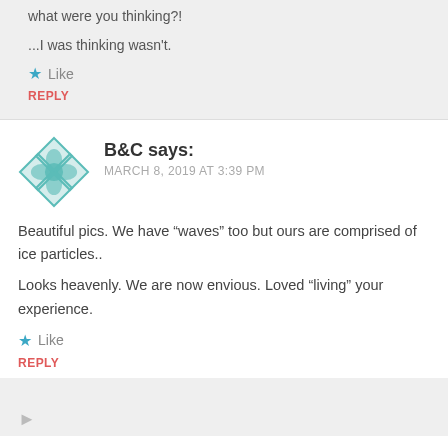what were you thinking?!
...I was thinking wasn't.
Like
REPLY
B&C says:
MARCH 8, 2019 AT 3:39 PM
Beautiful pics. We have “waves” too but ours are comprised of ice particles..
Looks heavenly. We are now envious. Loved “living” your experience.
Like
REPLY